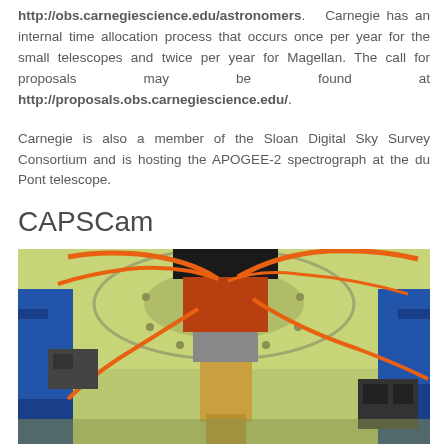http://obs.carnegiescience.edu/astronomers. Carnegie has an internal time allocation process that occurs once per year for the small telescopes and twice per year for Magellan. The call for proposals may be found at http://proposals.obs.carnegiescience.edu/.
Carnegie is also a member of the Sloan Digital Sky Survey Consortium and is hosting the APOGEE-2 spectrograph at the du Pont telescope.
CAPSCam
[Figure (photo): Photograph of the CAPSCam instrument mounted on a telescope, showing orange fiber optic cables, a red/orange box, and blue telescope structure against a yellow-green dome interior.]